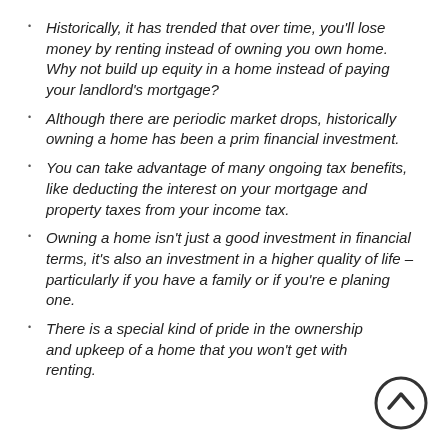Historically, it has trended that over time, you'll lose money by renting instead of owning you own home. Why not build up equity in a home instead of paying your landlord's mortgage?
Although there are periodic market drops, historically owning a home has been a prim financial investment.
You can take advantage of many ongoing tax benefits, like deducting the interest on your mortgage and property taxes from your income tax.
Owning a home isn't just a good investment in financial terms, it's also an investment in a higher quality of life – particularly if you have a family or if you're e planing one.
There is a special kind of pride in the ownership and upkeep of a home that you won't get with renting.